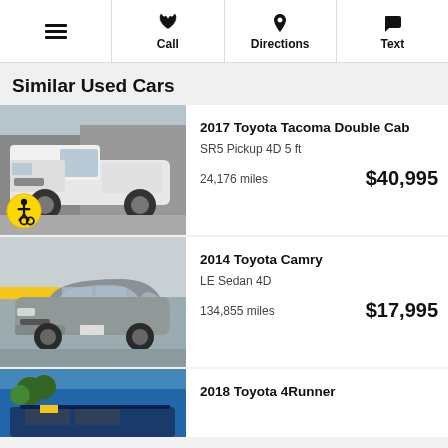≡  Call  Directions  Text
Similar Used Cars
[Figure (photo): 2017 Toyota Tacoma Double Cab white truck parked in lot with wheelchair accessible badge]
2017 Toyota Tacoma Double Cab
SR5 Pickup 4D 5 ft
24,176 miles   $40,995
[Figure (photo): 2014 Toyota Camry gray sedan parked in front of dealership]
2014 Toyota Camry
LE Sedan 4D
134,855 miles   $17,995
[Figure (photo): 2018 Toyota 4Runner blue SUV parked outside]
2018 Toyota 4Runner